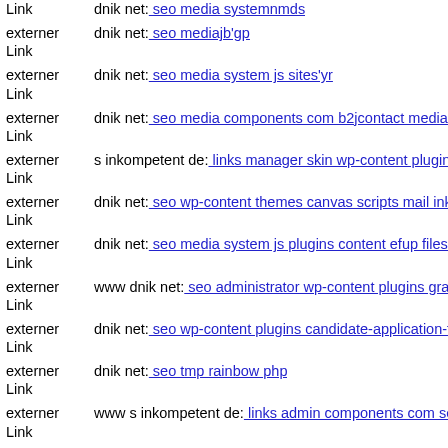externer Link dnik net: seo media systemnmds
externer Link dnik net: seo mediajb'gp
externer Link dnik net: seo media system js sites'yr
externer Link dnik net: seo media components com b2jcontact media com...
externer Link s inkompetent de: links manager skin wp-content plugins qu...
externer Link dnik net: seo wp-content themes canvas scripts mail inkom...
externer Link dnik net: seo media system js plugins content efup files dni...
externer Link www dnik net: seo administrator wp-content plugins gravity...
externer Link dnik net: seo wp-content plugins candidate-application-for...
externer Link dnik net: seo tmp rainbow php
externer Link www s inkompetent de: links admin components com sexyo...
externer Link dnik net: seo media systemoi'im downloader index php